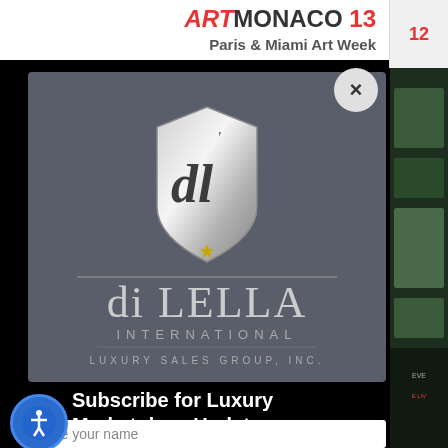ARTMONACO 13
[Figure (logo): di LELLA INTERNATIONAL LUXURY SALES GROUP, INC. logo — shield crest with stylized 'dl' monogram above large serif text 'di LELLA INTERNATIONAL' and 'LUXURY SALES GROUP, INC.' on a dark gray background]
Subscribe for Luxury Marketplace Updates
Type your name